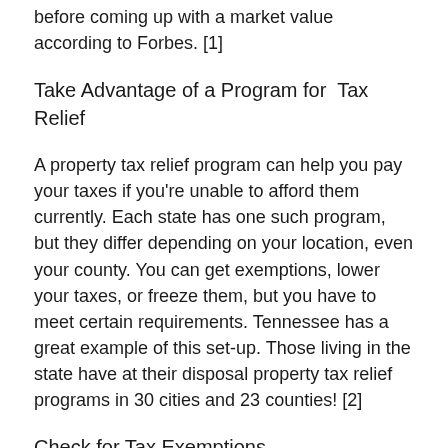before coming up with a market value according to Forbes. [1]
Take Advantage of a Program for  Tax Relief
A property tax relief program can help you pay your taxes if you're unable to afford them currently. Each state has one such program, but they differ depending on your location, even your county. You can get exemptions, lower your taxes, or freeze them, but you have to meet certain requirements. Tennessee has a great example of this set-up. Those living in the state have at their disposal property tax relief programs in 30 cities and 23 counties! [2]
Check for Tax Exemptions
Getting a tax exemption simply means that you